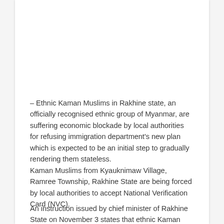– Ethnic Kaman Muslims in Rakhine state, an officially recognised ethnic group of Myanmar, are suffering economic blockade by local authorities for refusing immigration department's new plan which is expected to be an initial step to gradually rendering them stateless.
Kaman Muslims from Kyauknimaw Village, Ramree Township, Rakhine State are being forced by local authorities to accept National Verification Card (NVC).
An instruction issued by chief minister of Rakhine State on November 3 states that ethnic Kaman people with no